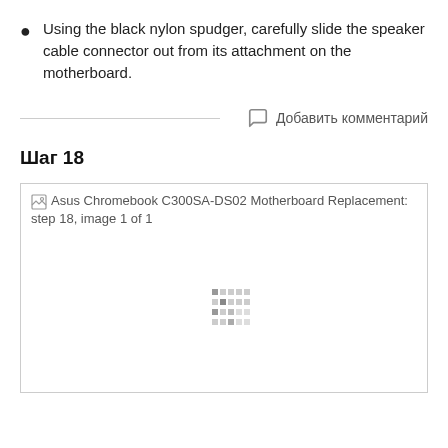Using the black nylon spudger, carefully slide the speaker cable connector out from its attachment on the motherboard.
Добавить комментарий
Шаг 18
[Figure (photo): Asus Chromebook C300SA-DS02 Motherboard Replacement: step 18, image 1 of 1 — image loading placeholder with dotted loading indicator]